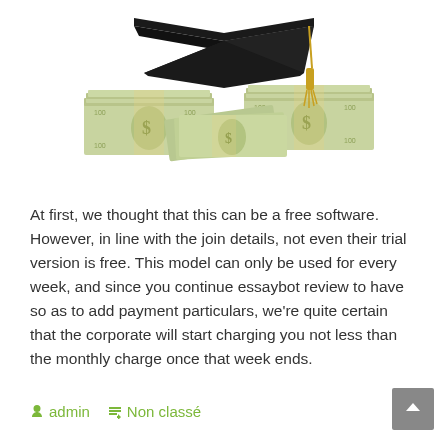[Figure (photo): A graduation cap (mortarboard) with gold tassel resting on top of several stacks of US dollar bills, on a white background.]
At first, we thought that this can be a free software. However, in line with the join details, not even their trial version is free. This model can only be used for every week, and since you continue essaybot review to have so as to add payment particulars, we're quite certain that the corporate will start charging you not less than the monthly charge once that week ends.
admin  Non classé